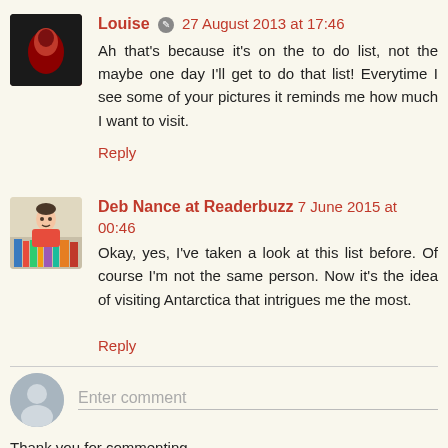Louise 🔘 27 August 2013 at 17:46
Ah that's because it's on the to do list, not the maybe one day I'll get to do that list! Everytime I see some of your pictures it reminds me how much I want to visit.
Reply
Deb Nance at Readerbuzz  7 June 2015 at 00:46
Okay, yes, I've taken a look at this list before. Of course I'm not the same person. Now it's the idea of visiting Antarctica that intrigues me the most.
Reply
Enter comment
Thank you for commenting.